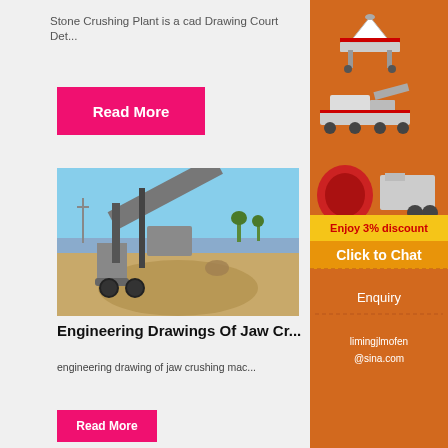Stone Crushing Plant is a cad Drawing Court Det...
Read More
[Figure (photo): A mobile jaw crushing machine/stone crusher at a construction or mining site, with blue sky and sandy terrain in the background.]
Engineering Drawings Of Jaw Cr...
engineering drawing of jaw crushing mac...
Read More
[Figure (illustration): Advertisement panel with orange background showing images of crushing/grinding machines (cone crusher, mobile crusher, mill). Includes 'Enjoy 3% discount', 'Click to Chat', 'Enquiry', and 'limingjlmofen@sina.com' contact details.]